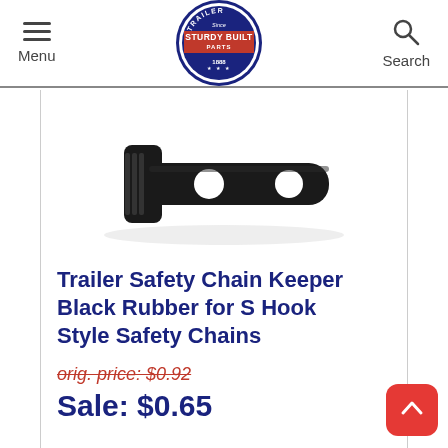Menu | Sturdy Built Trailer Parts | Search
[Figure (photo): Black rubber trailer safety chain keeper with two circular holes and a slot on one end, photographed on white background]
Trailer Safety Chain Keeper Black Rubber for S Hook Style Safety Chains
orig. price: $0.92
Sale: $0.65